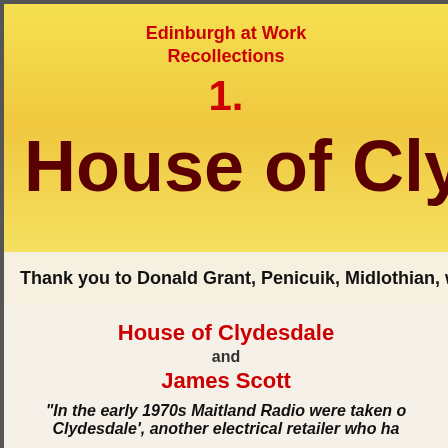Edinburgh at Work Recollections
1.
House of Clydes
Thank you to Donald Grant, Penicuik, Midlothian, who w
House of Clydesdale
and
James Scott
"In the early 1970s Maitland Radio were taken o Clydesdale', another electrical retailer who ha